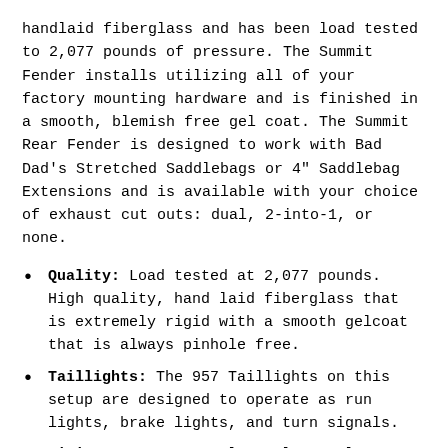handlaid fiberglass and has been load tested to 2,077 pounds of pressure. The Summit Fender installs utilizing all of your factory mounting hardware and is finished in a smooth, blemish free gel coat. The Summit Rear Fender is designed to work with Bad Dad's Stretched Saddlebags or 4" Saddlebag Extensions and is available with your choice of exhaust cut outs: dual, 2-into-1, or none.
Quality: Load tested at 2,077 pounds. High quality, hand laid fiberglass that is extremely rigid with a smooth gelcoat that is always pinhole free.
Taillights: The 957 Taillights on this setup are designed to operate as run lights, brake lights, and turn signals.
Wiring Harness: Complete plug-n-play wiring harness is included.